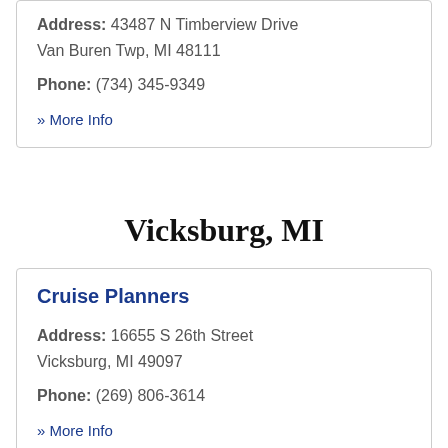Address: 43487 N Timberview Drive Van Buren Twp, MI 48111
Phone: (734) 345-9349
» More Info
Vicksburg, MI
Cruise Planners
Address: 16655 S 26th Street Vicksburg, MI 49097
Phone: (269) 806-3614
» More Info